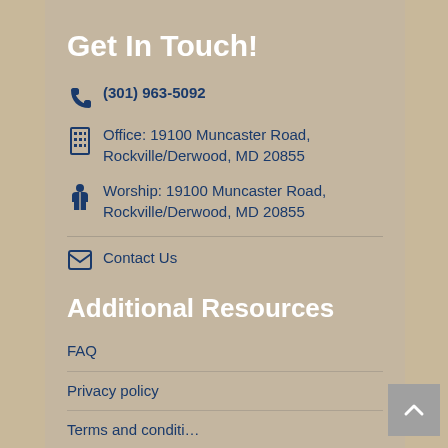Get In Touch!
(301) 963-5092
Office: 19100 Muncaster Road, Rockville/Derwood, MD 20855
Worship: 19100 Muncaster Road, Rockville/Derwood, MD 20855
Contact Us
Additional Resources
FAQ
Privacy policy
Terms and conditions (partial/cut off)